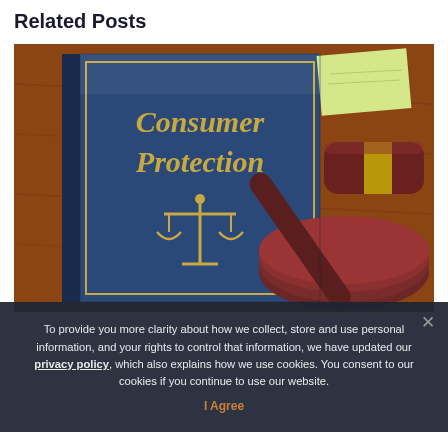Related Posts
[Figure (photo): A Consumer Protection law book with a gold scales of justice emblem on the cover, standing upright on a wooden desk next to a judge's wooden gavel and sound block, with a sticky note visible in the background.]
To provide you more clarity about how we collect, store and use personal information, and your rights to control that information, we have updated our privacy policy, which also explains how we use cookies. You consent to our cookies if you continue to use our website.
I Agree